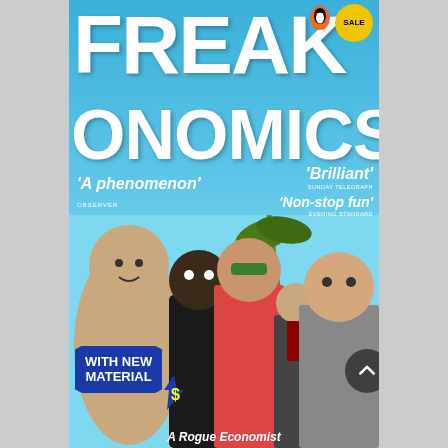[Figure (photo): Book cover of Freakonomics showing the title in large white bold text against a blue sky background, with photos of diverse people including a sumo wrestler, a person in hip-hop style, a woman in sunglasses and red dress, a businessman, and an Asian man in a suit. Features quotes 'A phenomenon' (Observer), 'Brilliant' (Sunday Telegraph), 'Non-stop fun' (Evening Standard), a 'WITH NEW MATERIAL' burst badge, a yellow 'SALE' circle badge, a Penguin books logo, and subtitle text 'A Rogue Economist'.]